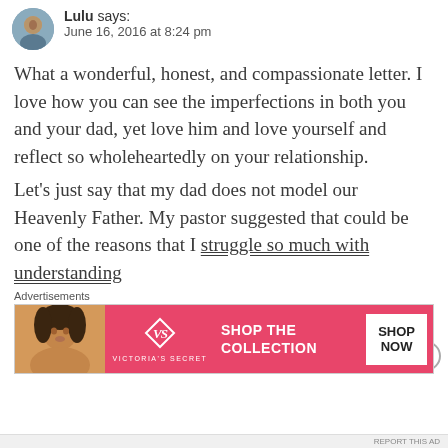Lulu says: June 16, 2016 at 8:24 pm
What a wonderful, honest, and compassionate letter. I love how you can see the imperfections in both you and your dad, yet love him and love yourself and reflect so wholeheartedly on your relationship.
Let's just say that my dad does not model our Heavenly Father. My pastor suggested that could be one of the reasons that I struggle so much with understanding
Advertisements
[Figure (photo): Victoria's Secret advertisement banner with a woman's photo on the left, Victoria's Secret logo in center, 'SHOP THE COLLECTION' text, and 'SHOP NOW' button on right, pink background]